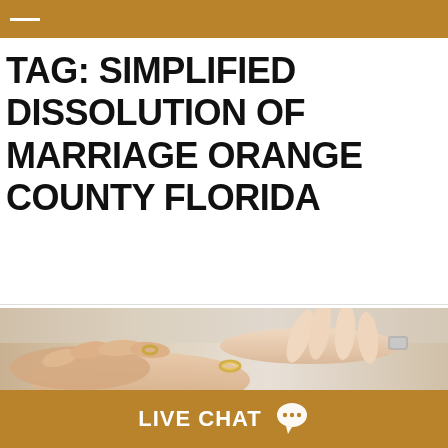TAG: SIMPLIFIED DISSOLUTION OF MARRIAGE ORANGE COUNTY FLORIDA
[Figure (photo): Close-up photo of two people's hands, one person appears to be removing or handing over a wedding ring to the other, suggesting a divorce or dissolution of marriage context.]
LIVE CHAT